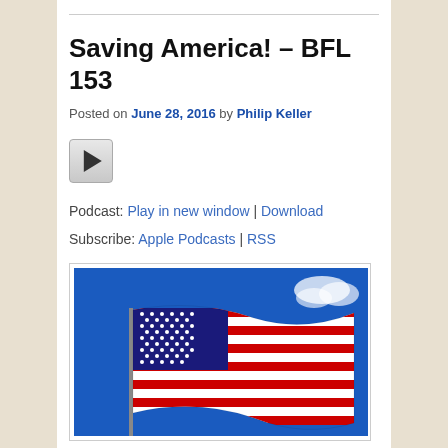Saving America! – BFL 153
Posted on June 28, 2016 by Philip Keller
[Figure (other): Audio play button control]
Podcast: Play in new window | Download
Subscribe: Apple Podcasts | RSS
[Figure (photo): American flag waving against a bright blue sky with a small cloud in the upper right]